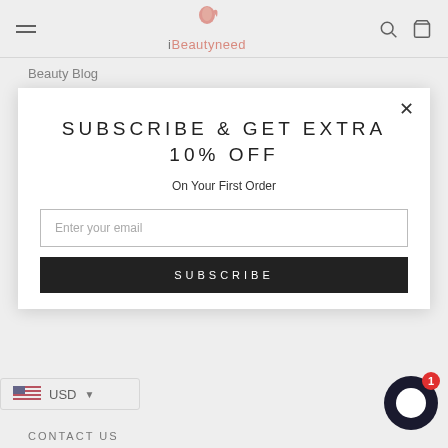iBeautyneed
Beauty Blog
About Us
SUBSCRIBE & GET EXTRA 10% OFF
On Your First Order
Enter your email
SUBSCRIBE
USD
CONTACT US